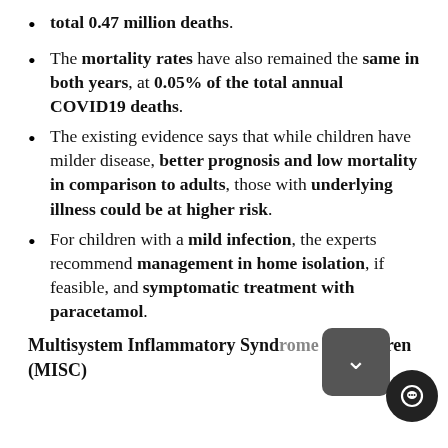total 0.47 million deaths.
The mortality rates have also remained the same in both years, at 0.05% of the total annual COVID19 deaths.
The existing evidence says that while children have milder disease, better prognosis and low mortality in comparison to adults, those with underlying illness could be at higher risk.
For children with a mild infection, the experts recommend management in home isolation, if feasible, and symptomatic treatment with paracetamol.
Multisystem Inflammatory Syndrome in Children (MISC)